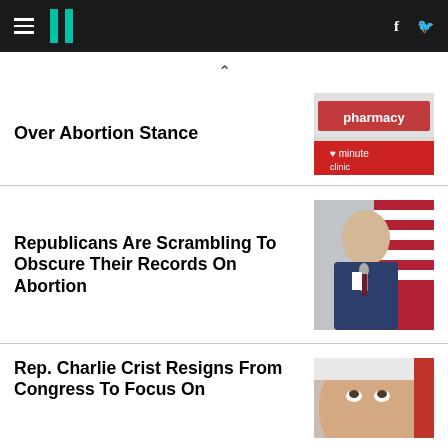HuffPost
Over Abortion Stance
[Figure (photo): Pharmacy sign with 'minute' clinic branding]
Republicans Are Scrambling To Obscure Their Records On Abortion
[Figure (photo): Man speaking into a microphone in front of American flag]
Rep. Charlie Crist Resigns From Congress To Focus On
[Figure (photo): Close-up of a man's face looking upward]